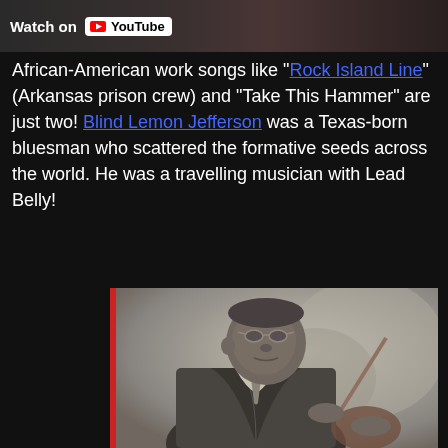[Figure (screenshot): Top portion of a YouTube video embed showing 'Watch on YouTube' button overlay on a dark image of guitar/music content]
African-American work songs like "Rock Island Line" (Arkansas prison crew) and "Take This Hammer" are just two! Blind Lemon Jefferson was a Texas-born bluesman who scattered the formative seeds across the world. He was a travelling musician with Lead Belly!
[Figure (photo): Black and white photograph of Blind Lemon Jefferson, a heavyset African-American man wearing a suit and holding a guitar, with a red vertical bar on the left edge of the image]